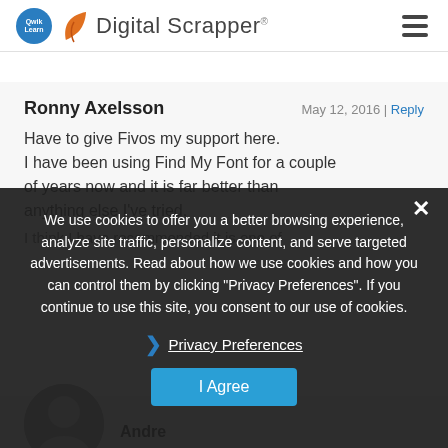Digital Scrapper
Ronny Axelsson   May 12, 2016 | Reply
Have to give Fivos my support here. I have been using Find My Font for a couple of years now and it is far better than anything else I've tried.
We use cookies to offer you a better browsing experience, analyze site traffic, personalize content, and serve targeted advertisements. Read about how we use cookies and how you can control them by clicking "Privacy Preferences". If you continue to use this site, you consent to our use of cookies.
Privacy Preferences
I Agree
Andre